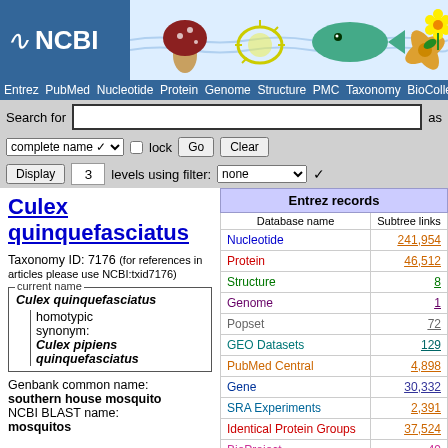[Figure (screenshot): NCBI website header with logo, banner illustrations (mushroom, bacterium, fish, flower), navigation bar, search bar, and taxonomy browser controls]
Culex quinquefasciatus
Taxonomy ID: 7176 (for references in articles please use NCBI:txid7176)
current name
Culex quinquefasciatus
homotypic synonym: Culex pipiens quinquefasciatus
Genbank common name: southern house mosquito
NCBI BLAST name: mosquitos
| Database name | Subtree links |
| --- | --- |
| Nucleotide | 241,954 |
| Protein | 46,512 |
| Structure | 8 |
| Genome | 1 |
| Popset | 72 |
| GEO Datasets | 129 |
| PubMed Central | 4,898 |
| Gene | 30,332 |
| SRA Experiments | 2,391 |
| Identical Protein Groups | 37,524 |
| BioProject | 49 |